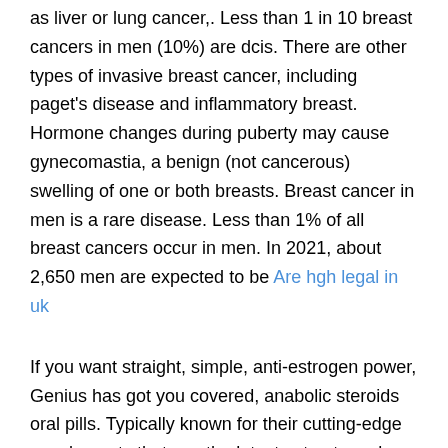as liver or lung cancer,. Less than 1 in 10 breast cancers in men (10%) are dcis. There are other types of invasive breast cancer, including paget's disease and inflammatory breast. Hormone changes during puberty may cause gynecomastia, a benign (not cancerous) swelling of one or both breasts. Breast cancer in men is a rare disease. Less than 1% of all breast cancers occur in men. In 2021, about 2,650 men are expected to be Are hgh legal in uk
If you want straight, simple, anti-estrogen power, Genius has got you covered, anabolic steroids oral pills. Typically known for their cutting-edge supplements that use the latest extracts and compounds, their Estrogen Balance formula goes with just two active ingredients: diindolylmethane and grape seed extract. There are many examples of guys and girls who have got super lean completely naturally. The key to getting ripped lies in what you put into your mouth, anabolic steroids oral pills. This way, your